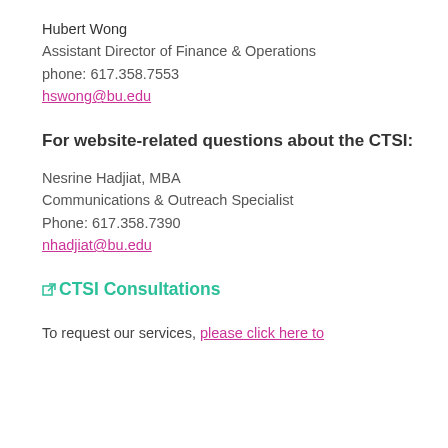Hubert Wong
Assistant Director of Finance & Operations
phone: 617.358.7553
hswong@bu.edu
For website-related questions about the CTSI:
Nesrine Hadjiat, MBA
Communications & Outreach Specialist
Phone: 617.358.7390
nhadjiat@bu.edu
CTSI Consultations
To request our services, please click here to